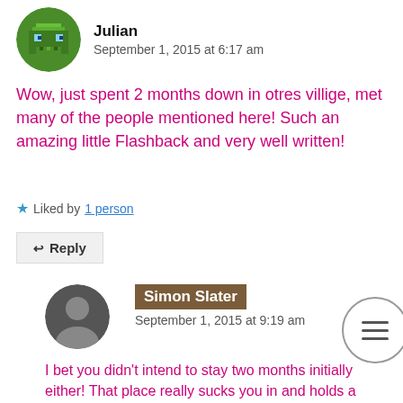Julian — September 1, 2015 at 6:17 am
Wow, just spent 2 months down in otres villige, met many of the people mentioned here! Such an amazing little Flashback and very well written!
★ Liked by 1 person
↩ Reply
Simon Slater — September 1, 2015 at 9:19 am
I bet you didn't intend to stay two months initially either! That place really sucks you in and holds a tight grip. Did you meet Mo was going to include a photo of her but then decided to limit myself to a